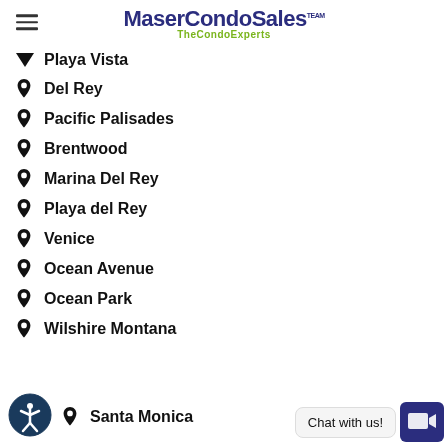MaserCondoSales TheCondoExperts
Playa Vista
Del Rey
Pacific Palisades
Brentwood
Marina Del Rey
Playa del Rey
Venice
Ocean Avenue
Ocean Park
Wilshire Montana
Santa Monica
Chat with us!